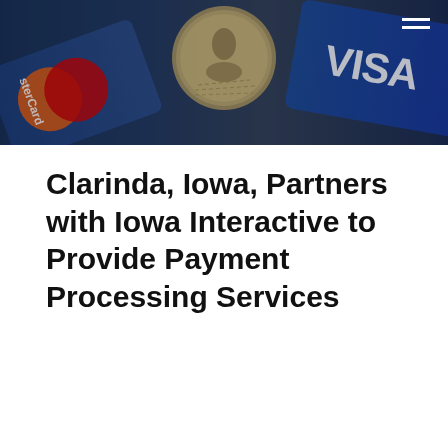[Figure (photo): Photo of credit cards fanned out — MasterCard (red/orange circles on blue card) on the left, a coin/medal in the center, and a VISA card (blue with white VISA text) on the right, with a dark overlay.]
Clarinda, Iowa, Partners with Iowa Interactive to Provide Payment Processing Services